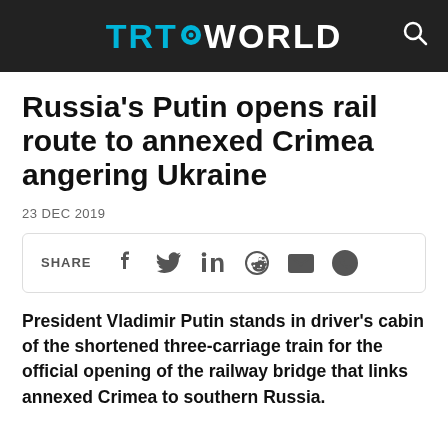TRT WORLD
Russia's Putin opens rail route to annexed Crimea angering Ukraine
23 DEC 2019
[Figure (infographic): Social share bar with icons for Facebook, Twitter, LinkedIn, Reddit, Email, WhatsApp]
President Vladimir Putin stands in driver's cabin of the shortened three-carriage train for the official opening of the railway bridge that links annexed Crimea to southern Russia.